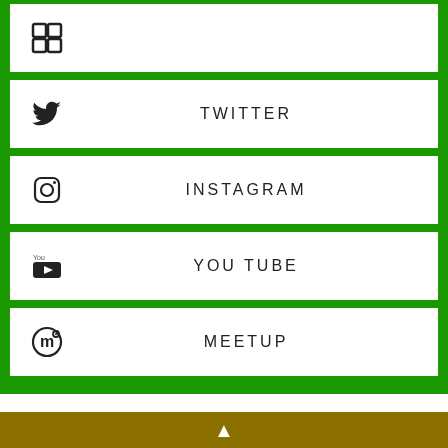TWITTER
INSTAGRAM
YOU TUBE
MEETUP
FIRE DANGER INFO
MyFireWatch Australia Bushfire Map
ACT Emercency Services Agency
NSW Rural Fire Service
NT Bushfire Alerts & Warnings
Queensland Current Bushfires
▲